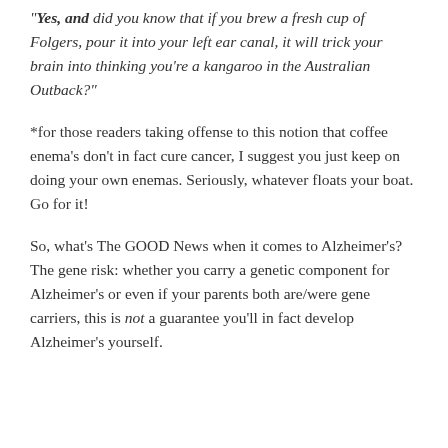"Yes, and did you know that if you brew a fresh cup of Folgers, pour it into your left ear canal, it will trick your brain into thinking you're a kangaroo in the Australian Outback?"
*for those readers taking offense to this notion that coffee enema's don't in fact cure cancer, I suggest you just keep on doing your own enemas. Seriously, whatever floats your boat. Go for it!
So, what's The GOOD News when it comes to Alzheimer's? The gene risk: whether you carry a genetic component for Alzheimer's or even if your parents both are/were gene carriers, this is not a guarantee you'll in fact develop Alzheimer's yourself.